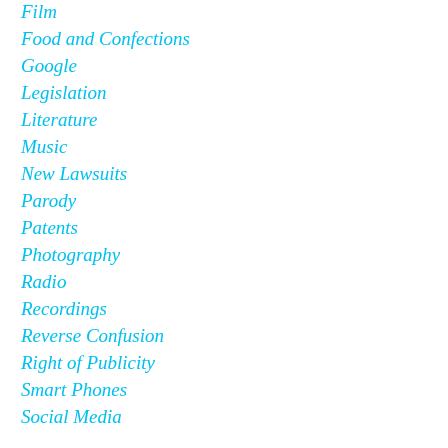Film
Food and Confections
Google
Legislation
Literature
Music
New Lawsuits
Parody
Patents
Photography
Radio
Recordings
Reverse Confusion
Right of Publicity
Smart Phones
Social Media